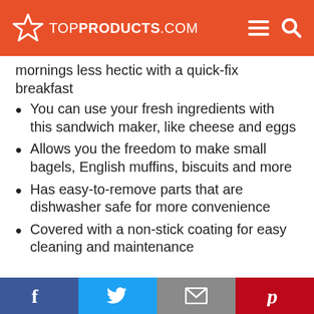TOPPRODUCTS.COM
mornings less hectic with a quick-fix breakfast
You can use your fresh ingredients with this sandwich maker, like cheese and eggs
Allows you the freedom to make small bagels, English muffins, biscuits and more
Has easy-to-remove parts that are dishwasher safe for more convenience
Covered with a non-stick coating for easy cleaning and maintenance
Facebook | Twitter | Email | Pinterest